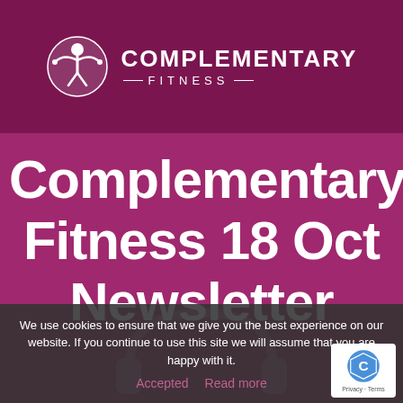[Figure (logo): Complementary Fitness logo with circular icon showing a figure with wings/arms outstretched, white on dark purple background, with text COMPLEMENTARY FITNESS]
Complementary Fitness 18 Oct Newsletter
We use cookies to ensure that we give you the best experience on our website. If you continue to use this site we will assume that you are happy with it.
Accepted   Read more